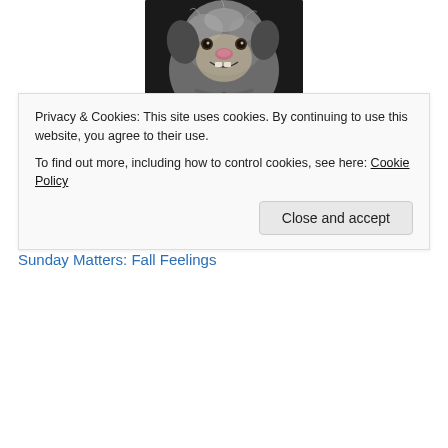[Figure (photo): Close-up photo of a small fluffy dog with a big grin/smile showing teeth, looking at camera]
Recent Posts
Sunday Matters: Thinking About the Blog
Whatnot – 08/17/22
Sunday Matters: I Made It
Sunday Matters: Fall Feelings
Privacy & Cookies: This site uses cookies. By continuing to use this website, you agree to their use.
To find out more, including how to control cookies, see here: Cookie Policy